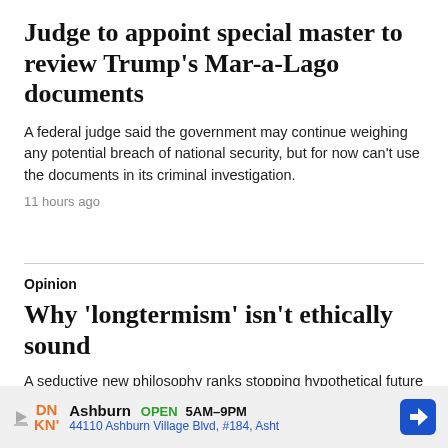Judge to appoint special master to review Trump’s Mar-a-Lago documents
A federal judge said the government may continue weighing any potential breach of national security, but for now can’t use the documents in its criminal investigation.
11 hours ago
Opinion
Why ‘longtermism’ isn’t ethically sound
A seductive new philosophy ranks stopping hypothetical future catastrophes over helping people currently on Earth.
[Figure (infographic): Advertisement banner for Dunkin' (DN/KN) at 44110 Ashburn Village Blvd, #184, Ashburn. Shows OPEN 5AM-9PM with navigation icon.]